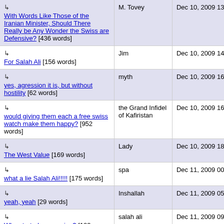| Title | Author | Date |
| --- | --- | --- |
| ↳ With Words Like Those of the Iranian Minister, Should There Really be Any Wonder the Swiss are Defensive? [436 words] | M. Tovey | Dec 10, 2009 13:23 |
| ↳ For Salah Ali [156 words] | Jim | Dec 10, 2009 14:55 |
| ↳ yes, agression it is, but without hostility [62 words] | myth | Dec 10, 2009 16:37 |
| ↳ would giving them each a free swiss watch make them happy? [952 words] | the Grand Infidel of Kafiristan | Dec 10, 2009 16:52 |
| ↳ The West Value [169 words] | Lady | Dec 10, 2009 18:11 |
| ↳ what a lie Salah Ali!!!!! [175 words] | spa | Dec 11, 2009 00:41 |
| ↳ yeah, yeah [29 words] | Inshallah | Dec 11, 2009 05:52 |
| ↳ Who started aggression? [109 words] | salah ali | Dec 11, 2009 09:56 |